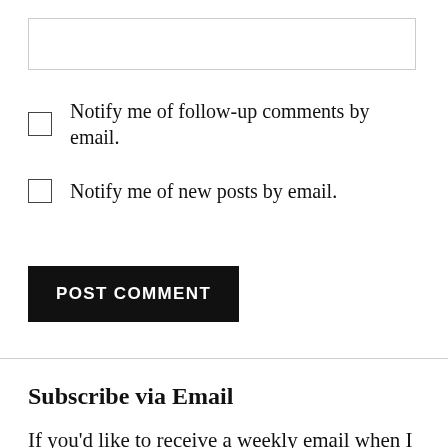[Figure (other): Empty text input box with light gray border]
Notify me of follow-up comments by email.
Notify me of new posts by email.
POST COMMENT
Subscribe via Email
If you'd like to receive a weekly email when I post, please enter your email address below. Thanks!